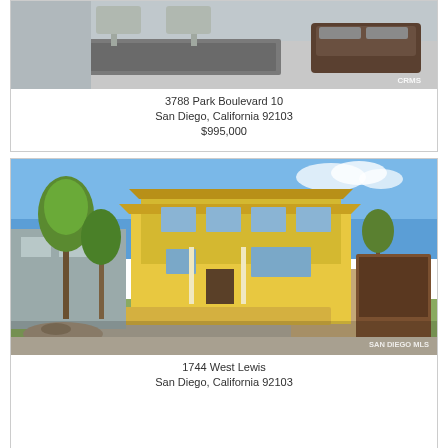[Figure (photo): Partial view of a patio/outdoor space with a rug, chairs, and wicker furniture. CRMS watermark in bottom right.]
3788 Park Boulevard 10
San Diego, California 92103
$995,000
[Figure (photo): Exterior photo of a two-story yellow craftsman-style house with trees in front yard, green lawn, and a driveway. San Diego area property.]
1744 West Lewis
San Diego, California 92103